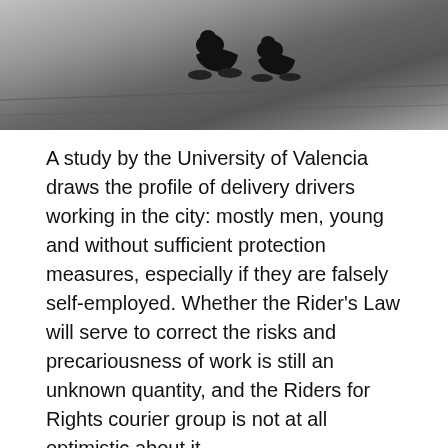[Figure (photo): Black and white photograph of cyclist delivery riders in motion on a road track]
A study by the University of Valencia draws the profile of delivery drivers working in the city: mostly men, young and without sufficient protection measures, especially if they are falsely self-employed. Whether the Rider’s Law will serve to correct the risks and precariousness of work is still an unknown quantity, and the Riders for Rights courier group is not at all optimistic about it.
Recent statements by Sacha Michaud, co-founder of Glovo, the Spanish food delivery platform, in which he defended the benefits of the “flexibility” of these platforms and defined “having two or three jobs at the same time” as “a reality” aroused the indignation of the delivery drivers: neither the successive legal victories in favour of the riders and against the digital platforms, nor the